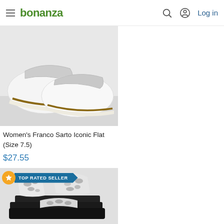bonanza | Log in
[Figure (photo): White slip-on flat shoes (Franco Sarto Iconic Flat) on a white surface, viewed from the side showing the brown-trimmed sole]
Women's Franco Sarto Iconic Flat (Size 7.5)
$27.55
[Figure (photo): Snake print sandals with straps, black and white/grey pattern, viewed from above at an angle. Badge shows TOP RATED SELLER.]